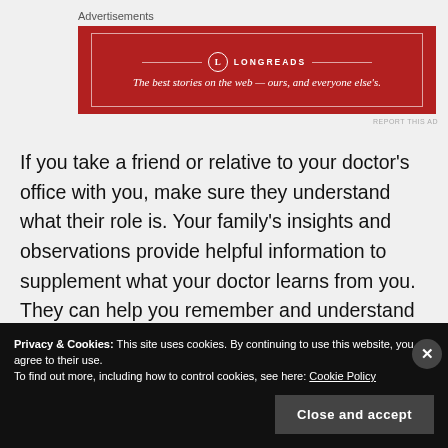Advertisements
[Figure (other): Longreads advertisement banner: red background with white border, logo circle with L, text 'LONGREADS', tagline 'The best stories on the web — ours, and everyone else’s.']
If you take a friend or relative to your doctor’s office with you, make sure they understand what their role is. Your family’s insights and observations provide helpful information to supplement what your doctor learns from you. They can help you remember and understand answers and instructions. But this isn’t a time for them to discuss their own medical issues with the doctor.
Privacy & Cookies: This site uses cookies. By continuing to use this website, you agree to their use. To find out more, including how to control cookies, see here: Cookie Policy
Close and accept